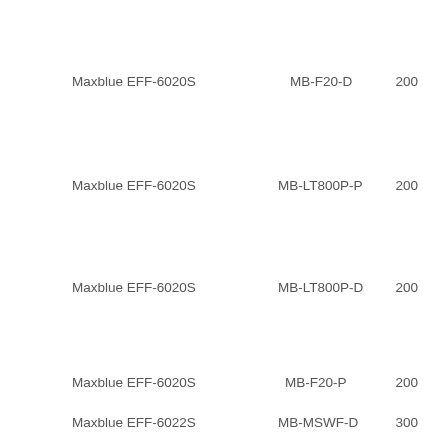Maxblue EFF-6020S    MB-F20-D    200
Maxblue EFF-6020S    MB-LT800P-P    200
Maxblue EFF-6020S    MB-LT800P-D    200
Maxblue EFF-6020S    MB-F20-P    200
Maxblue EFF-6022S    MB-MSWF-D    300